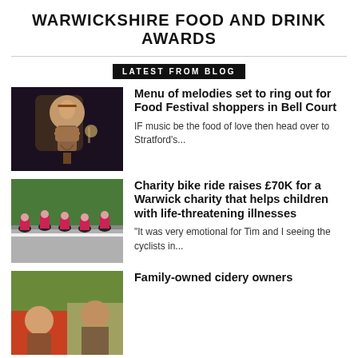WARWICKSHIRE FOOD AND DRINK AWARDS
LATEST FROM BLOG
[Figure (photo): Man singing and playing guitar on stage in dark venue]
Menu of melodies set to ring out for Food Festival shoppers in Bell Court
IF music be the food of love then head over to Stratford's...
[Figure (photo): Group of cyclists in pink jerseys riding on a road]
Charity bike ride raises £70K for a Warwick charity that helps children with life-threatening illnesses
"It was very emotional for Tim and I seeing the cyclists in...
[Figure (photo): Family members posing, partial view at bottom of page]
Family-owned cidery owners